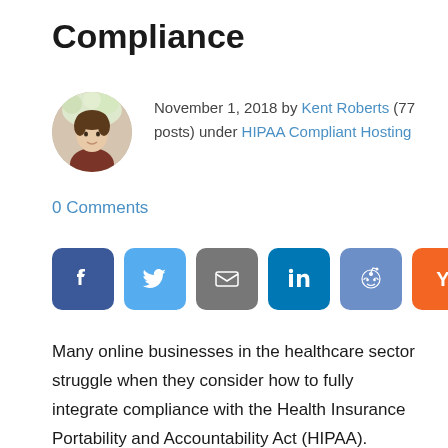Compliance
November 1, 2018 by Kent Roberts (77 posts) under HIPAA Compliant Hosting
0 Comments
[Figure (other): Social sharing buttons: Facebook, Twitter, Email, LinkedIn, Reddit, Hacker News (Y)]
Many online businesses in the healthcare sector struggle when they consider how to fully integrate compliance with the Health Insurance Portability and Accountability Act (HIPAA). Understanding the parameters of the Privacy